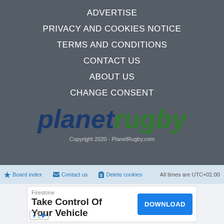ADVERTISE
PRIVACY AND COOKIES NOTICE
TERMS AND CONDITIONS
CONTACT US
ABOUT US
CHANGE CONSENT
[Figure (logo): Planet Rugby logo with 'planet' in dark blue and 'rugby' in green, italic bold font]
Copyright 2020 - PlanetRugby.com
Board index   Contact us   Delete cookies   All times are UTC+01:00
[Figure (infographic): Advertisement: Firestone - Take Control Of Your Vehicle - DOWNLOAD button]